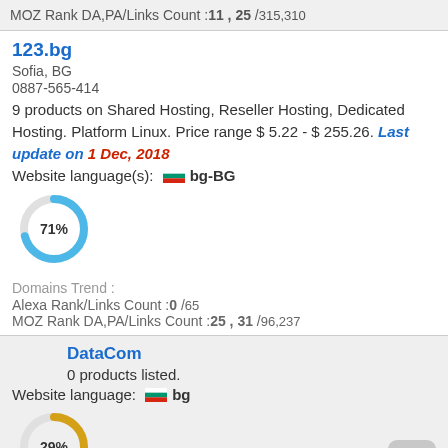MOZ Rank DA,PA/Links Count :11 , 25 /315,310
123.bg
Sofia, BG
0887-565-414
9 products on Shared Hosting, Reseller Hosting, Dedicated Hosting. Platform Linux. Price range $ 5.22 - $ 255.26. Last update on 1 Dec, 2018
Website language(s): bg-BG
[Figure (donut-chart): 71%]
Domains Trend :
Alexa Rank/Links Count :0 /65
MOZ Rank DA,PA/Links Count :25 , 31 /96,237
DataCom
0 products listed.
Website language: bg
[Figure (donut-chart): 29%]
Domains Trend :